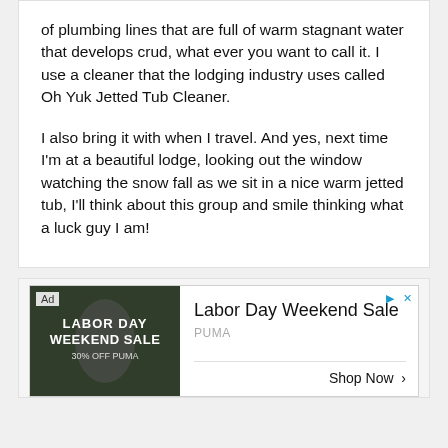of plumbing lines that are full of warm stagnant water that develops crud, what ever you want to call it. I use a cleaner that the lodging industry uses called Oh Yuk Jetted Tub Cleaner.
I also bring it with when I travel. And yes, next time I'm at a beautiful lodge, looking out the window watching the snow fall as we sit in a nice warm jetted tub, I'll think about this group and smile thinking what a luck guy I am!
[Figure (other): Advertisement banner for Puma Labor Day Weekend Sale showing a person in athletic wear with text 'Ad', 'Labor Day Weekend Sale', 'PUMA', and 'Shop Now >' button]